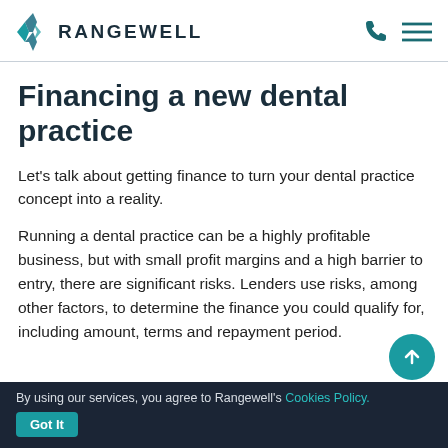RANGEWELL
Financing a new dental practice
Let's talk about getting finance to turn your dental practice concept into a reality.
Running a dental practice can be a highly profitable business, but with small profit margins and a high barrier to entry, there are significant risks. Lenders use risks, among other factors, to determine the finance you could qualify for, including amount, terms and repayment period.
By using our services, you agree to Rangewell's Cookies Policy. Got It